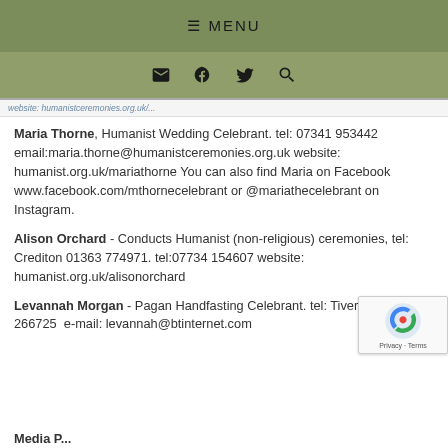≡ MENU
[Figure (infographic): Navigation icon bar with envelope, Facebook, Twitter, and search icons on olive/sage green background]
Maria Thorne, Humanist Wedding Celebrant. tel: 07341 953442 email:maria.thorne@humanistceremonies.org.uk website: humanist.org.uk/mariathorne You can also find Maria on Facebook www.facebook.com/mthornecelebrant or @mariathecelebrant on Instagram.
Alison Orchard - Conducts Humanist (non-religious) ceremonies, tel: Crediton 01363 774971. tel:07734 154607 website: humanist.org.uk/alisonorchard
Levannah Morgan - Pagan Handfasting Celebrant. tel: Tiverton 01884 266725  e-mail: levannah@btinternet.com